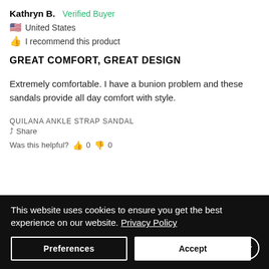Kathryn B. Verified Buyer
United States
I recommend this product
GREAT COMFORT, GREAT DESIGN
Extremely comfortable. I have a bunion problem and these sandals provide all day comfort with style.
QUILANA ANKLE STRAP SANDAL
Share
Was this helpful? 0 0
This website uses cookies to ensure you get the best experience on our website. Privacy Policy
Preferences
Accept